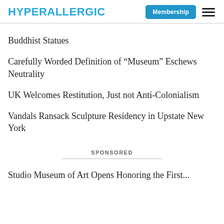HYPERALLERGIC | Membership
Buddhist Statues
Carefully Worded Definition of “Museum” Eschews Neutrality
UK Welcomes Restitution, Just not Anti-Colonialism
Vandals Ransack Sculpture Residency in Upstate New York
SPONSORED
Studio Museum of Art Opens Honoring the First...